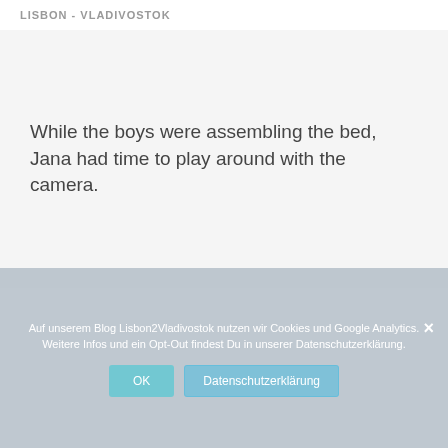LISBON - VLADIVOSTOK
While the boys were assembling the bed, Jana had time to play around with the camera.
Auf unserem Blog Lisbon2Vladivostok nutzen wir Cookies und Google Analytics. Weitere Infos und ein Opt-Out findest Du in unserer Datenschutzerklärung.